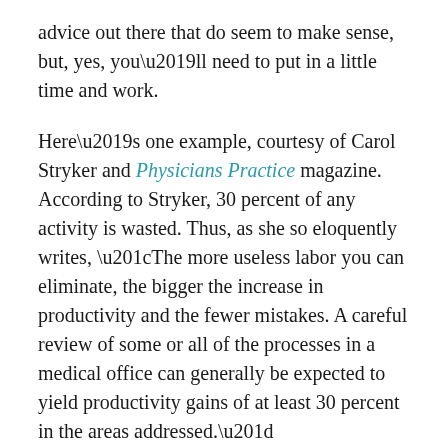advice out there that do seem to make sense, but, yes, you'll need to put in a little time and work.
Here's one example, courtesy of Carol Stryker and Physicians Practice magazine. According to Stryker, 30 percent of any activity is wasted. Thus, as she so eloquently writes, “The more useless labor you can eliminate, the bigger the increase in productivity and the fewer mistakes. A careful review of some or all of the processes in a medical office can generally be expected to yield productivity gains of at least 30 percent in the areas addressed.”
So, to eliminate wasted work and improve efficiency, which improves profitability, establish a process and iron out the wrinkles. The following six steps will help, she says.